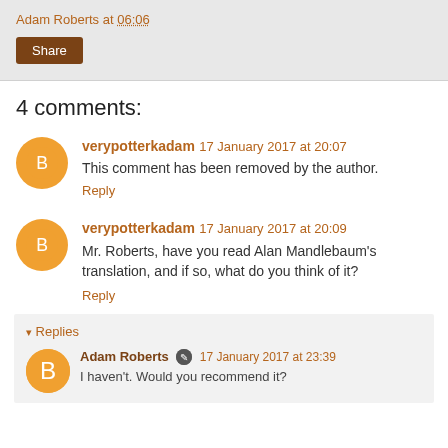Adam Roberts at 06:06
Share
4 comments:
verypotterkadam 17 January 2017 at 20:07
This comment has been removed by the author.
Reply
verypotterkadam 17 January 2017 at 20:09
Mr. Roberts, have you read Alan Mandlebaum's translation, and if so, what do you think of it?
Reply
Replies
Adam Roberts 17 January 2017 at 23:39
I haven't. Would you recommend it?